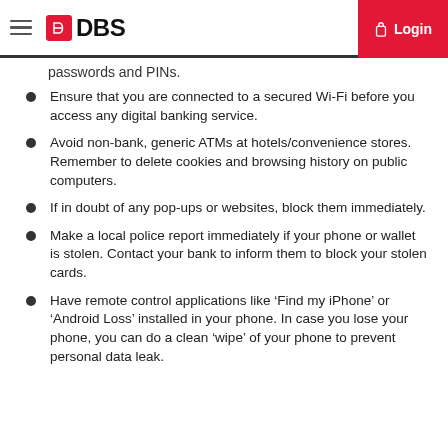DBS — Login
passwords and PINs.
Ensure that you are connected to a secured Wi-Fi before you access any digital banking service.
Avoid non-bank, generic ATMs at hotels/convenience stores. Remember to delete cookies and browsing history on public computers.
If in doubt of any pop-ups or websites, block them immediately.
Make a local police report immediately if your phone or wallet is stolen. Contact your bank to inform them to block your stolen cards.
Have remote control applications like ‘Find my iPhone’ or ‘Android Loss’ installed in your phone. In case you lose your phone, you can do a clean ‘wipe’ of your phone to prevent personal data leak.